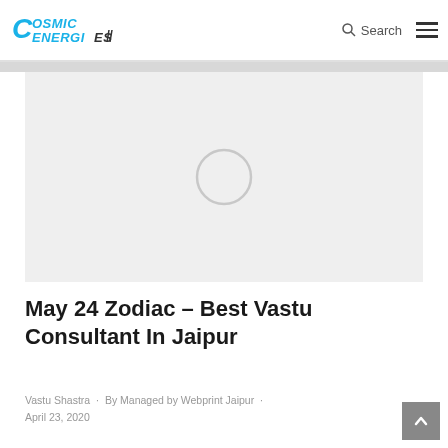Cosmic Energies — www.cosmicenergiies.com | Search | Menu
[Figure (photo): Large light gray placeholder image with a faint circle/loading spinner in the center]
May 24 Zodiac – Best Vastu Consultant In Jaipur
Vastu Shastra · By Managed by Webprint Jaipur · April 23, 2020